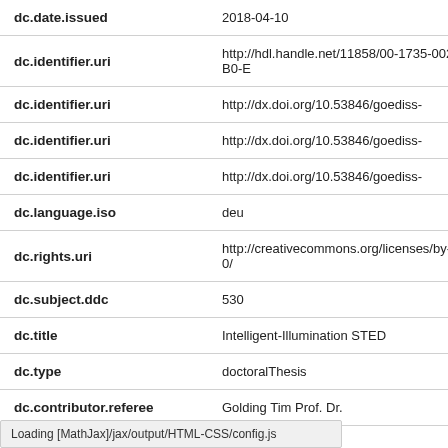| Field | Value |
| --- | --- |
| dc.date.issued | 2018-04-10 |
| dc.identifier.uri | http://hdl.handle.net/11858/00-1735-002E-E3B0-E |
| dc.identifier.uri | http://dx.doi.org/10.53846/goediss- |
| dc.identifier.uri | http://dx.doi.org/10.53846/goediss- |
| dc.identifier.uri | http://dx.doi.org/10.53846/goediss- |
| dc.language.iso | deu |
| dc.rights.uri | http://creativecommons.org/licenses/by-nd/4.0/ |
| dc.subject.ddc | 530 |
| dc.title | Intelligent-Illumination STED |
| dc.type | doctoralThesis |
| dc.contributor.referee | Golding Tim Prof. Dr. |
Loading [MathJax]/jax/output/HTML-CSS/config.js